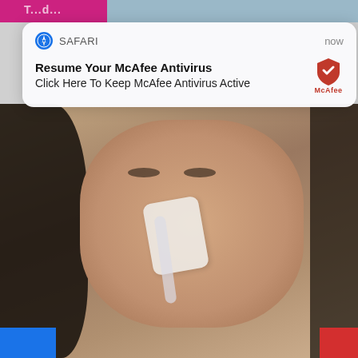[Figure (screenshot): Safari browser push notification card with McAfee Antivirus message]
Resume Your McAfee Antivirus
Click Here To Keep McAfee Antivirus Active
[Figure (photo): Close-up photo of a woman with dark hair with a nasal splint or medical tape on her nose]
[Figure (screenshot): Popup ad card with photo of Willie Nelson and headline: A Tragic End Today For Willie Nelson, Breaking News]